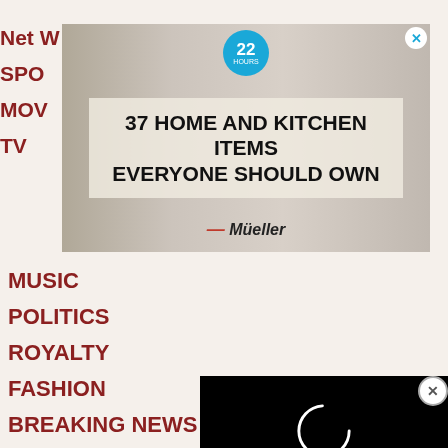[Figure (screenshot): Advertisement banner for '37 Home and Kitchen Items Everyone Should Own' by Mueller, with a badge showing '22 hours', a close button, and product imagery of kitchen tools]
Net W
SPO
MOV
TV
MUSIC
POLITICS
ROYALTY
FASHION
BREAKING NEWS
newsletter
fresh news delivered to your inbox
[Figure (screenshot): Video player overlay with black background showing a white circular loading spinner, with an X close button at top right]
CLOSE
First Name